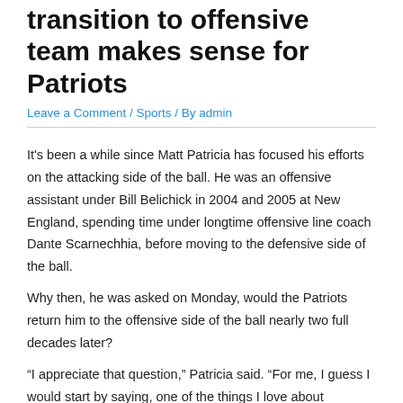transition to offensive team makes sense for Patriots
Leave a Comment / Sports / By admin
It's been a while since Matt Patricia has focused his efforts on the attacking side of the ball. He was an offensive assistant under Bill Belichick in 2004 and 2005 at New England, spending time under longtime offensive line coach Dante Scarnechhia, before moving to the defensive side of the ball.
Why then, he was asked on Monday, would the Patriots return him to the offensive side of the ball nearly two full decades later?
“I appreciate that question,” Patricia said. “For me, I guess I would start by saying, one of the things I love about coaching is teaching. I love teaching the game. You know, really. I think when you teach and that you become a coach, for us, and especially here – and the coach does a great job of that, and that’s something I learned